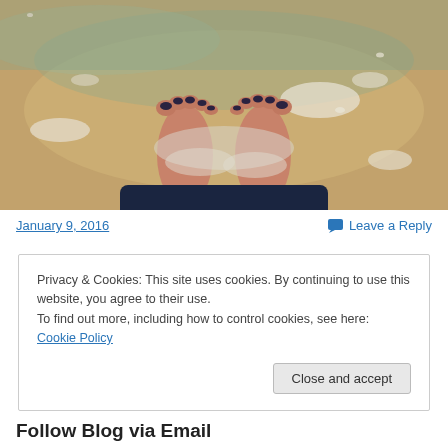[Figure (photo): Overhead view of two bare feet with dark-painted toenails standing on wet sandy beach with shallow ocean water and sea foam around them. Person is wearing dark navy pants/jeans visible at the bottom.]
January 9, 2016
Leave a Reply
Privacy & Cookies: This site uses cookies. By continuing to use this website, you agree to their use.
To find out more, including how to control cookies, see here: Cookie Policy
Close and accept
Follow Blog via Email